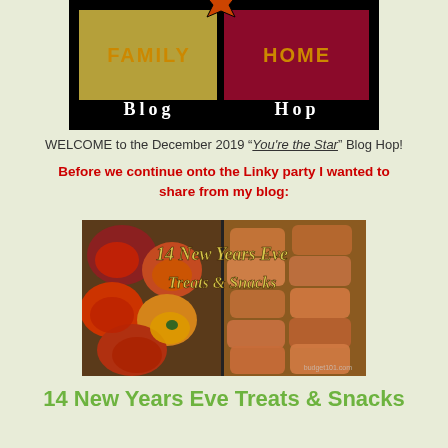[Figure (logo): Family Home Blog Hop logo with black background, gold/yellow left panel labeled FAMILY and dark red right panel labeled HOME, with a maple leaf star at top center, and 'Blog Hop' text at bottom in white serif font]
WELCOME to the December 2019 "You're the Star" Blog Hop!
Before we continue onto the Linky party I wanted to share from my blog:
[Figure (photo): Food photo showing New Years Eve treats and snacks - left side shows small appetizers/dips in cups, right side shows fried egg rolls. Text overlay reads '14 New Years Eve Treats & Snacks' in yellow text.]
14 New Years Eve Treats & Snacks